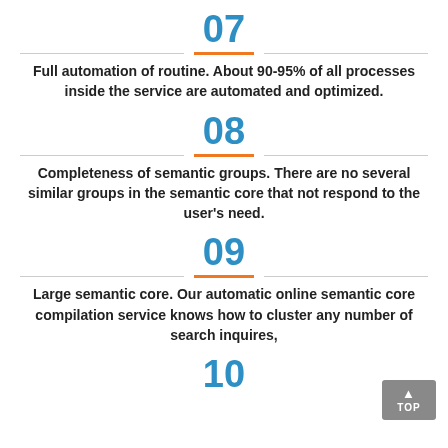07
Full automation of routine. About 90-95% of all processes inside the service are automated and optimized.
08
Completeness of semantic groups. There are no several similar groups in the semantic core that not respond to the user's need.
09
Large semantic core. Our automatic online semantic core compilation service knows how to cluster any number of search inquires,
10